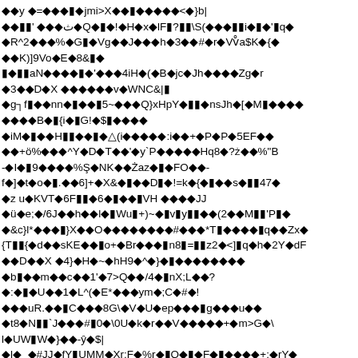◆◆y ◆=◆◆◆▮◆jmi>X◆◆▮◆◆◆◆◆<◆}b| ◆◆▮▮' ◆◆◆ث◆Q◆▮◆!◆H◆x◆lF▮?▮▮\S(◆◆◆▮▮i◆▮◆'▮q◆ ◆R^2◆◆◆%◆G▮◆Vg◆◆J◆◆◆h◆3◆◆#◆r◆Vv̊a$K◆{◆ ◆◆K)]9Vo◆E◆8&▮◆ ▮◆▮▮aN◆◆◆◆▮◆'◆◆◆4iH◆(◆B◆jc◆Jh◆◆◆◆Zg◆r ◆3◆◆D◆X ◆◆◆◆◆◆v◆WNC&|▮ ◆g┐f▮◆◆nn◆▮◆◆▮5~◆◆◆Q}xHpY◆▮▮◆nsJh◆[◆M▮◆◆◆◆ ◆◆◆◆B◆▮{i◆▮G!◆$▮◆◆◆◆ ◆iM◆▮◆◆H▮▮◆◆▮◆△(i◆◆◆◆◆:i◆◆+◆P◆P◆5EF◆◆ ◆◆+ö%◆◆◆^Y◆D◆T◆◆'◆y`P◆◆◆◆◆Hq8◆?ż◆◆%"B -◆I◆▮9◆◆◆◆%Ş◆NK◆◆Żaz◆▮◆FO◆◆- f◆]◆t◆o◆▮.◆◆6]+◆X&◆▮◆◆D▮◆!=k◆{◆▮◆◆s◆▮▮47◆ ◆z u◆KVT◆6F▮▮◆6◆▮◆◆▮VH ◆◆◆◆JJ ◆ü◆e;◆/6J◆◆h◆◆l◆▮Wu▮+)~◆▮v▮y▮▮◆◆(2◆◆M▮▮'P▮◆ ◆&c}l*◆◆◆▮}X◆◆O◆◆◆◆◆◆◆◆#◆◆◆*T▮◆◆◆◆▮q◆◆Zx◆ {T▮▮{◆d◆◆sKE◆◆▮o+◆Br◆◆◆▮n8▮=▮▮z2◆<]▮q◆h◆2Y◆dF ◆◆D◆◆X ◆4}◆H◆~◆hH9◆^◆}◆▮◆◆◆◆◆◆◆◆ ◆b▮◆◆m◆◆c◆◆1'◆7>Q◆◆/4◆▮nX;L◆◆? ◆:◆▮◆U◆◆1◆L^(◆E*◆◆◆ym◆;C◆#◆! ◆◆◆uR.◆◆▮C◆◆◆8G\◆V◆U◆ep◆◆◆▮g◆◆◆u◆◆ ◆t8◆N▮▮`J◆◆◆#▮0◆\0U◆k◆r◆◆V◆◆◆◆◆+◆m>G◆\ l◆UW▮W◆}◆◆-ŷ◆$| ◆l◆_◆#JJ◆fY▮UMM◆Xr;F◆%r◆▮Q◆▮◆F◆▮◆◆◆◆+:◆rY◆ ◆◆м◆◆)▮LRSIJ[*◆Vi▮◆◆◆◆C◆p9&7bp0l{◆◆▮◆A◆◆